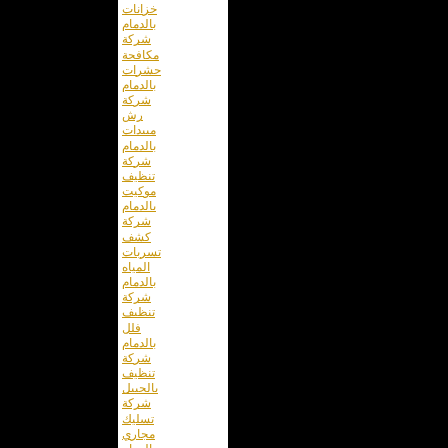خزانات
بالدمام
شركة
مكافحة
حشرات
بالدمام
شركة
رش
مبيدات
بالدمام
شركة
تنظيف
موكيت
بالدمام
شركة
كشف
تسربات
المياه
بالدمام
شركة
تنظيف
فلل
بالدمام
شركة
تنظيف
بالجبيل
شركة
تسليك
مجاري
بالدمام
شركة
مكافحة